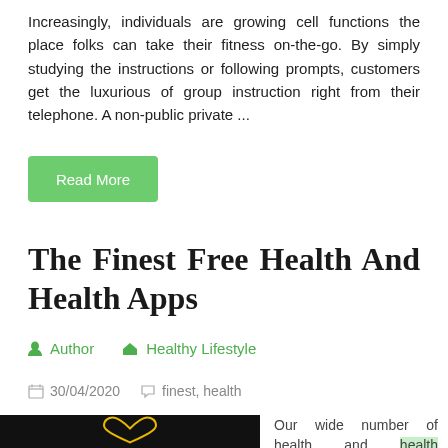Increasingly, individuals are growing cell functions the place folks can take their fitness on-the-go. By simply studying the instructions or following prompts, customers get the luxurious of group instruction right from their telephone. A non-public private ...
Read More
The Finest Free Health And Health Apps
Author   Healthy Lifestyle
30/04/2020   finest, health
[Figure (photo): Dark background image with a yellow/gold heart shape outline at the bottom]
Our wide number of health and health activities include